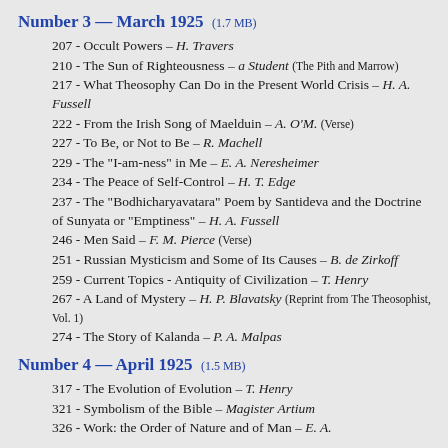Number 3 — March 1925  (1.7 MB)
207 - Occult Powers – H. Travers
210 - The Sun of Righteousness – a Student (The Pith and Marrow)
217 - What Theosophy Can Do in the Present World Crisis – H. A. Fussell
222 - From the Irish Song of Maelduin – A. O'M. (Verse)
227 - To Be, or Not to Be – R. Machell
229 - The "I-am-ness" in Me – E. A. Neresheimer
234 - The Peace of Self-Control – H. T. Edge
237 - The "Bodhicharyavatara" Poem by Santideva and the Doctrine of Sunyata or "Emptiness" – H. A. Fussell
246 - Men Said – F. M. Pierce (Verse)
251 - Russian Mysticism and Some of Its Causes – B. de Zirkoff
259 - Current Topics - Antiquity of Civilization – T. Henry
267 - A Land of Mystery – H. P. Blavatsky (Reprint from The Theosophist, Vol. 1)
274 - The Story of Kalanda – P. A. Malpas
Number 4 — April 1925  (1.5 MB)
317 - The Evolution of Evolution – T. Henry
321 - Symbolism of the Bible – Magister Artium
326 - Work: the Order of Nature and of Man – E. A.